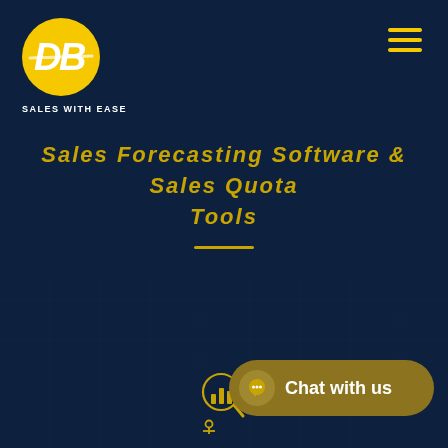[Figure (logo): DB logo — yellow circle with stylized DB letters in white, company brand mark for 'Sales with Ease']
SALES WITH EASE
[Figure (other): Hamburger menu icon — three yellow horizontal bars in top right corner]
Sales Forecasting Software & Sales Quota Tools
[Figure (illustration): Analytics/chart icon with magnifying glass and small figure below, gold outline style]
[Figure (other): Chat with us button — dark gold rounded pill with chat bubble icon and text 'Chat with us']